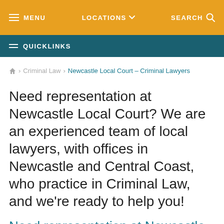MENU  LOCATIONS  SEARCH
QUICKLINKS
🏠 › Criminal Law › Newcastle Local Court – Criminal Lawyers
Need representation at Newcastle Local Court? We are an experienced team of local lawyers, with offices in Newcastle and Central Coast, who practice in Criminal Law, and we're ready to help you!
Need representation at Newcastle Local Court?